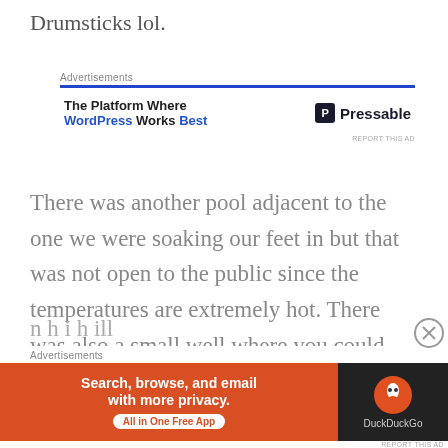Drumsticks lol.
[Figure (other): Advertisement banner for Pressable WordPress hosting with blue header line, text 'The Platform Where WordPress Works Best' and Pressable logo on right]
There was another pool adjacent to the one we were soaking our feet in but that was not open to the public since the temperatures are extremely hot. There was also a small well where you could cook eggs (!), which are sold by a local vendor.
[Figure (other): Advertisement banner for DuckDuckGo app: 'Search, browse, and email with more privacy. All in One Free App' on orange background with DuckDuckGo logo on dark right panel]